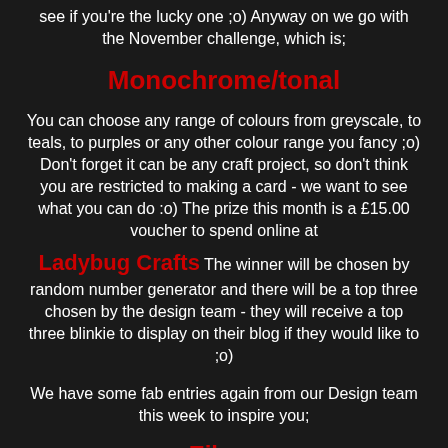see if you're the lucky one ;o)  Anyway on we go with the November challenge, which is;
Monochrome/tonal
You can choose any range of colours from greyscale, to teals, to purples or any other colour range you fancy ;o)  Don't forget it can be any craft project, so don't think you are restricted to making a card - we want to see what you can do :o)  The prize this month is a £15.00 voucher to spend online at
Ladybug Crafts  The winner will be chosen by random number generator and there will be a top three chosen by the design team - they will receive a top three blinkie to display on their blog if they would like to ;o)
We have some fab entries again from our Design team this week to inspire you;
Eileen